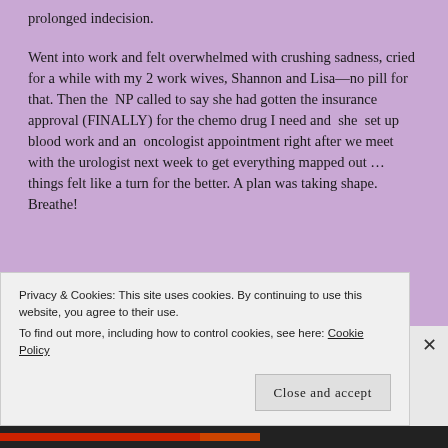prolonged indecision.
Went into work and felt overwhelmed with crushing sadness, cried for a while with my 2 work wives, Shannon and Lisa—no pill for that. Then the NP called to say she had gotten the insurance approval (FINALLY) for the chemo drug I need and she set up blood work and an oncologist appointment right after we meet with the urologist next week to get everything mapped out … things felt like a turn for the better. A plan was taking shape. Breathe!
Privacy & Cookies: This site uses cookies. By continuing to use this website, you agree to their use.
To find out more, including how to control cookies, see here: Cookie Policy
Close and accept